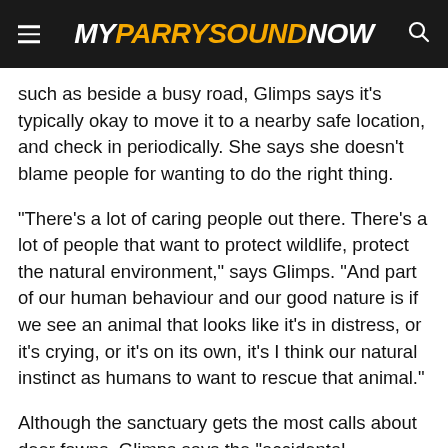MY PARRY SOUND NOW
such as beside a busy road, Glimps says it's typically okay to move it to a nearby safe location, and check in periodically. She says she doesn't blame people for wanting to do the right thing.
“There’s a lot of caring people out there. There’s a lot of people that want to protect wildlife, protect the natural environment,” says Glimps. “And part of our human behaviour and our good nature is if we see an animal that looks like it’s in distress, or it’s crying, or it’s on its own, it’s I think our natural instinct as humans to want to rescue that animal.”
Although the sanctuary gets the most calls about deer fawns, Glimps says the “accidental kidnappings” can happen across many species.